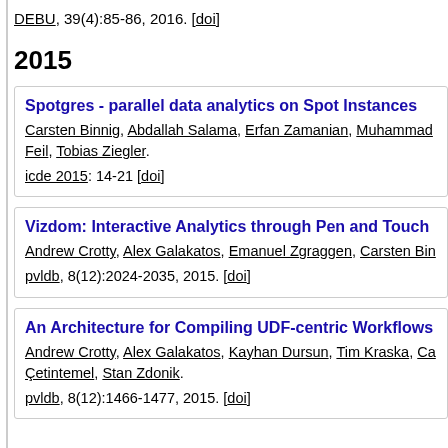DEBU, 39(4):85-86, 2016. [doi]
2015
Spotgres - parallel data analytics on Spot Instances. Carsten Binnig, Abdallah Salama, Erfan Zamanian, Muhammad Feil, Tobias Ziegler. icde 2015: 14-21 [doi]
Vizdom: Interactive Analytics through Pen and Touch. Andrew Crotty, Alex Galakatos, Emanuel Zgraggen, Carsten Binnig. pvldb, 8(12):2024-2035, 2015. [doi]
An Architecture for Compiling UDF-centric Workflows. Andrew Crotty, Alex Galakatos, Kayhan Dursun, Tim Kraska, Çetintemel, Stan Zdonik. pvldb, 8(12):1466-1477, 2015. [doi]